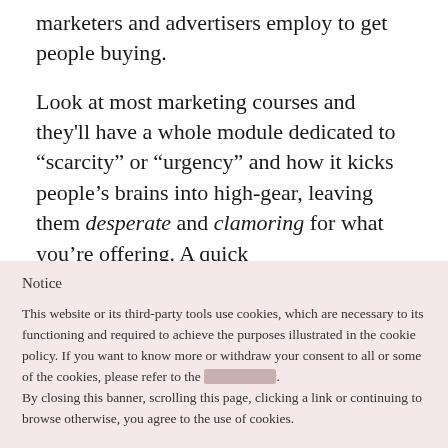marketers and advertisers employ to get people buying.
Look at most marketing courses and they'll have a whole module dedicated to “scarcity” or “urgency” and how it kicks people’s brains into high-gear, leaving them desperate and clamoring for what you’re offering. A quick
Notice
This website or its third-party tools use cookies, which are necessary to its functioning and required to achieve the purposes illustrated in the cookie policy. If you want to know more or withdraw your consent to all or some of the cookies, please refer to the cookie policy. By closing this banner, scrolling this page, clicking a link or continuing to browse otherwise, you agree to the use of cookies.